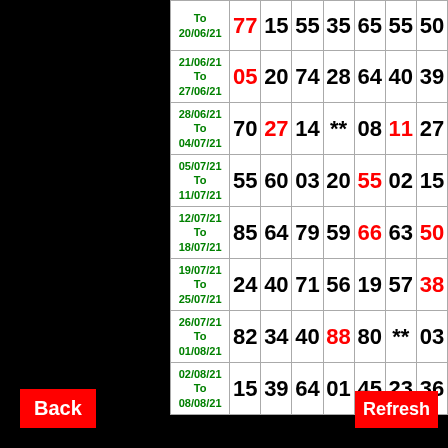| Date | N1 | N2 | N3 | N4 | N5 | N6 | N7 |
| --- | --- | --- | --- | --- | --- | --- | --- |
| To 20/06/21 | 77 | 15 | 55 | 35 | 65 | 55 | 50 |
| 21/06/21 To 27/06/21 | 05 | 20 | 74 | 28 | 64 | 40 | 39 |
| 28/06/21 To 04/07/21 | 70 | 27 | 14 | ** | 08 | 11 | 27 |
| 05/07/21 To 11/07/21 | 55 | 60 | 03 | 20 | 55 | 02 | 15 |
| 12/07/21 To 18/07/21 | 85 | 64 | 79 | 59 | 66 | 63 | 50 |
| 19/07/21 To 25/07/21 | 24 | 40 | 71 | 56 | 19 | 57 | 38 |
| 26/07/21 To 01/08/21 | 82 | 34 | 40 | 88 | 80 | ** | 03 |
| 02/08/21 To 08/08/21 | 15 | 39 | 64 | 01 | 45 | 23 | 36 |